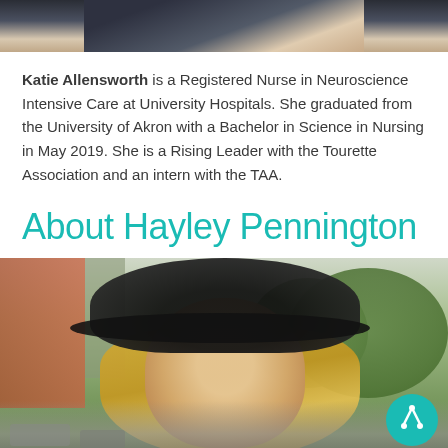[Figure (photo): Partial photo of a person at the top of the page, cropped]
Katie Allensworth is a Registered Nurse in Neuroscience Intensive Care at University Hospitals. She graduated from the University of Akron with a Bachelor in Science in Nursing in May 2019. She is a Rising Leader with the Tourette Association and an intern with the TAA.
About Hayley Pennington
[Figure (photo): Photo of Hayley Pennington, a woman with blonde hair wearing a large black wide-brimmed hat, smiling, photographed outdoors on a city street with trees and buildings in background. A teal circular TAA badge is visible in the lower right corner of the photo.]